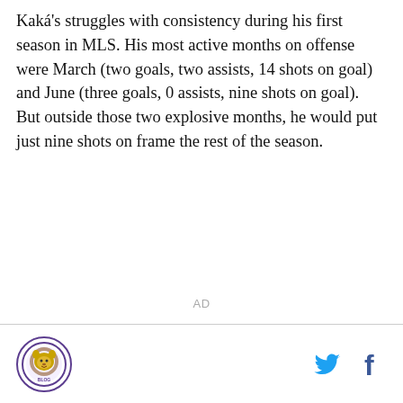Kaká's struggles with consistency during his first season in MLS. His most active months on offense were March (two goals, two assists, 14 shots on goal) and June (three goals, 0 assists, nine shots on goal). But outside those two explosive months, he would put just nine shots on frame the rest of the season.
AD
Logo and social media icons